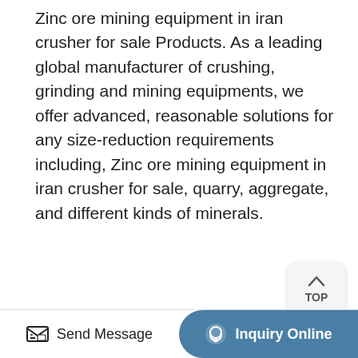Zinc ore mining equipment in iran crusher for sale Products. As a leading global manufacturer of crushing, grinding and mining equipments, we offer advanced, reasonable solutions for any size-reduction requirements including, Zinc ore mining equipment in iran crusher for sale, quarry, aggregate, and different kinds of minerals.
[Figure (other): Yellow 'Get Details' button]
[Figure (other): TOP navigation button with upward arrow]
[Figure (photo): Industrial facility with rows of crusher/mining machines with red wheel flywheels and one blue machine, inside a large warehouse]
[Figure (other): Bottom bar with 'Send Message' button and 'Inquiry Online' teal button]